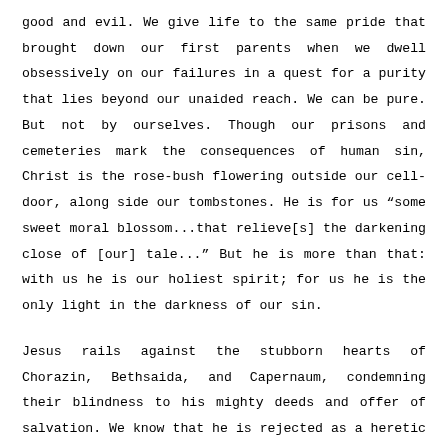good and evil. We give life to the same pride that brought down our first parents when we dwell obsessively on our failures in a quest for a purity that lies beyond our unaided reach. We can be pure. But not by ourselves. Though our prisons and cemeteries mark the consequences of human sin, Christ is the rose-bush flowering outside our cell-door, along side our tombstones. He is for us “some sweet moral blossom...that relieve[s] the darkening close of [our] tale...” But he is more than that: with us he is our holiest spirit; for us he is the only light in the darkness of our sin.
Jesus rails against the stubborn hearts of Chorazin, Bethsaida, and Capernaum, condemning their blindness to his mighty deeds and offer of salvation. We know that he is rejected as a heretic and demon by the temple, as a rebel by the empire, and possibly as a madman by most of those who hear him. The audacity of his message is too much to hear: the